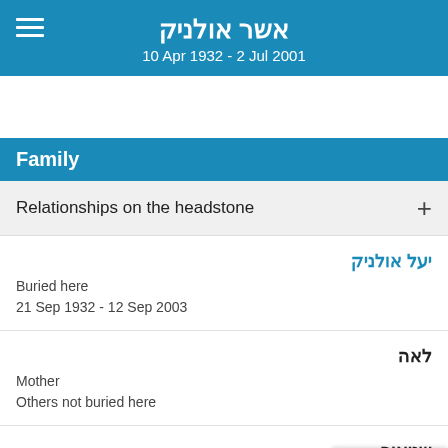אשר אולניק
10 Apr 1932 - 2 Jul 2001
Family
Relationships on the headstone
יעל אולניק
Buried here
21 Sep 1932 - 12 Sep 2003
לאה
Mother
Others not buried here
שניאור
Father
Others not buried here